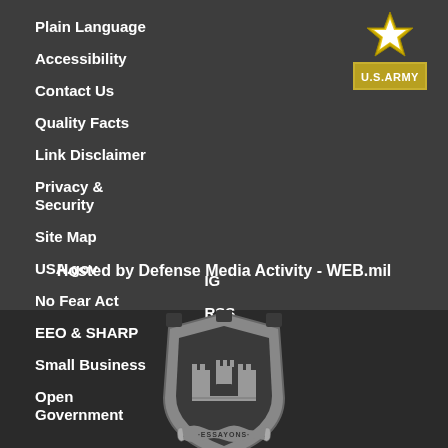[Figure (logo): U.S. Army logo with gold star and yellow badge reading U.S.ARMY]
Plain Language
Site Map
Accessibility
USA.gov
IG
Contact Us
No Fear Act
Quality Facts
EEO & SHARP
RSS
Link Disclaimer
Small Business
FOIA
Privacy & Security
Open Government
iSALUTE
Hosted by Defense Media Activity - WEB.mil
[Figure (logo): U.S. Army Corps of Engineers castle shield emblem with ESSAYONS inscription]